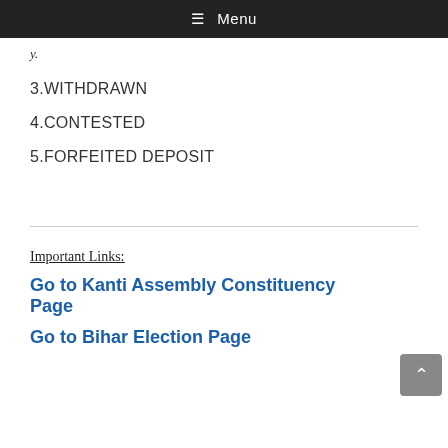☰ Menu
y.
3.WITHDRAWN
4.CONTESTED
5.FORFEITED DEPOSIT
Important Links:
Go to Kanti Assembly Constituency Page
Go to Bihar Election Page